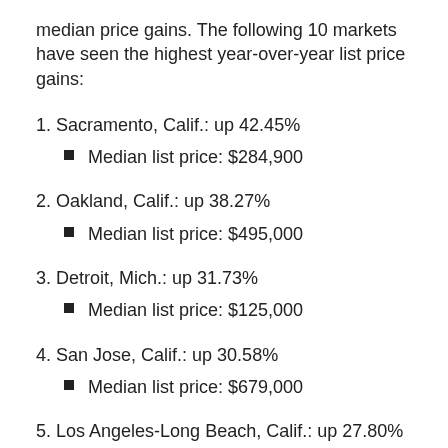median price gains. The following 10 markets have seen the highest year-over-year list price gains:
1. Sacramento, Calif.: up 42.45%
Median list price: $284,900
2. Oakland, Calif.: up 38.27%
Median list price: $495,000
3. Detroit, Mich.: up 31.73%
Median list price: $125,000
4. San Jose, Calif.: up 30.58%
Median list price: $679,000
5. Los Angeles-Long Beach, Calif.: up 27.80%